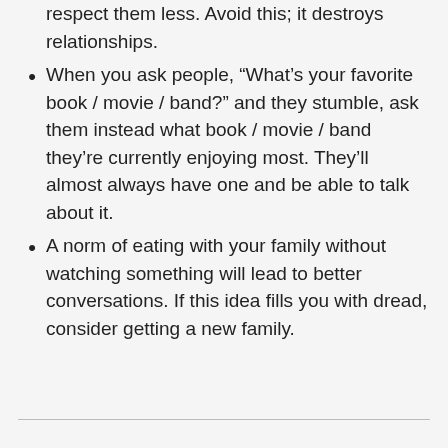respect them less. Avoid this; it destroys relationships.
When you ask people, “What’s your favorite book / movie / band?” and they stumble, ask them instead what book / movie / band they’re currently enjoying most. They’ll almost always have one and be able to talk about it.
A norm of eating with your family without watching something will lead to better conversations. If this idea fills you with dread, consider getting a new family.